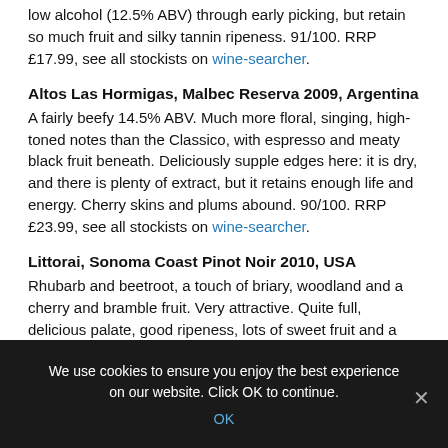low alcohol (12.5% ABV) through early picking, but retain so much fruit and silky tannin ripeness. 91/100. RRP £17.99, see all stockists on wine-searcher.
Altos Las Hormigas, Malbec Reserva 2009, Argentina
A fairly beefy 14.5% ABV. Much more floral, singing, high-toned notes than the Classico, with espresso and meaty black fruit beneath. Deliciously supple edges here: it is dry, and there is plenty of extract, but it retains enough life and energy. Cherry skins and plums abound. 90/100. RRP £23.99, see all stockists on wine-searcher.
Littorai, Sonoma Coast Pinot Noir 2010, USA
Rhubarb and beetroot, a touch of briary, woodland and a cherry and bramble fruit. Very attractive. Quite full, delicious palate, good ripeness, lots of sweet fruit and a spicy, svelte and classy finish. Not enormously complex but utterly charming. 91/100. RRP £39.99, see all stockists on wine-searcher.
We use cookies to ensure you enjoy the best experience on our website. Click OK to continue.